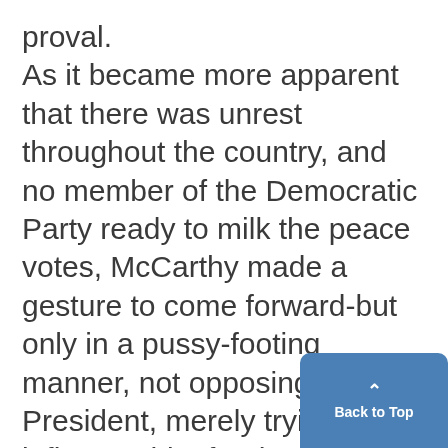proval. As it became more apparent that there was unrest throughout the country, and no member of the Democratic Party ready to milk the peace votes, McCarthy made a gesture to come forward-but only in a pussy-footing manner, not opposing the President, merely trying to influence him for the good of the party. This action was reasonable, but not particularly courageous. After all McCarthy wasn't risking much and there was all